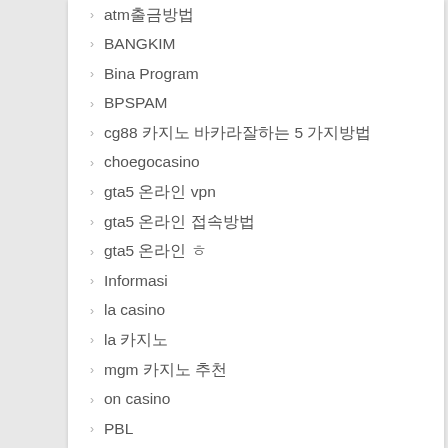atm출금방법
BANGKIM
Bina Program
BPSPAM
cg88 카지노 바카라잘하는 5 가지방법
choegocasino
gta5 온라인 vpn
gta5 온라인 접속방법
gta5 온라인 ㅎ
Informasi
la casino
la 카지노
mgm 카지노 추천
on casino
PBL
PLP
Presentasi
SESDITJEN
seven luck